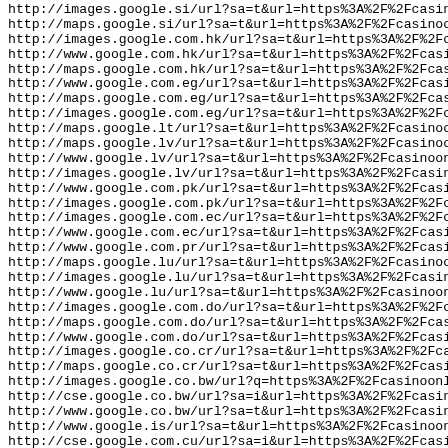http://images.google.si/url?sa=t&url=https%3A%2F%2Fcasinoon
http://maps.google.si/url?sa=t&url=https%3A%2F%2Fcasinoonli
http://images.google.com.hk/url?sa=t&url=https%3A%2F%2Fcasi
http://www.google.com.hk/url?sa=t&url=https%3A%2F%2Fcasinoo
http://maps.google.com.hk/url?sa=t&url=https%3A%2F%2Fcasino
http://www.google.com.eg/url?sa=t&url=https%3A%2F%2Fcasinoo
http://maps.google.com.eg/url?sa=t&url=https%3A%2F%2Fcasino
http://images.google.com.eg/url?sa=t&url=https%3A%2F%2Fcasi
http://maps.google.lt/url?sa=t&url=https%3A%2F%2Fcasinoonli
http://maps.google.lv/url?sa=t&url=https%3A%2F%2Fcasinoonli
http://www.google.lv/url?sa=t&url=https%3A%2F%2Fcasinoonlin
http://images.google.lv/url?sa=t&url=https%3A%2F%2Fcasinoon
http://www.google.com.pk/url?sa=t&url=https%3A%2F%2Fcasinoo
http://images.google.com.pk/url?sa=t&url=https%3A%2F%2Fcasi
http://images.google.com.ec/url?sa=t&url=https%3A%2F%2Fcasi
http://www.google.com.ec/url?sa=t&url=https%3A%2F%2Fcasinoo
http://www.google.com.pr/url?sa=t&url=https%3A%2F%2Fcasinoo
http://maps.google.lu/url?sa=t&url=https%3A%2F%2Fcasinoonli
http://images.google.lu/url?sa=t&url=https%3A%2F%2Fcasinoon
http://www.google.lu/url?sa=t&url=https%3A%2F%2Fcasinoonlin
http://images.google.com.do/url?sa=t&url=https%3A%2F%2Fcasi
http://maps.google.com.do/url?sa=t&url=https%3A%2F%2Fcasino
http://www.google.com.do/url?sa=t&url=https%3A%2F%2Fcasinoo
http://images.google.co.cr/url?sa=t&url=https%3A%2F%2Fcasin
http://maps.google.co.cr/url?sa=t&url=https%3A%2F%2Fcasinoo
http://images.google.co.bw/url?q=https%3A%2F%2Fcasinoonline
http://cse.google.co.bw/url?sa=i&url=https%3A%2F%2Fcasinoon
http://www.google.co.bw/url?sa=t&url=https%3A%2F%2Fcasinoon
http://www.google.is/url?sa=t&url=https%3A%2F%2Fcasinoonlin
http://cse.google.com.cu/url?sa=i&url=https%3A%2F%2Fcasino